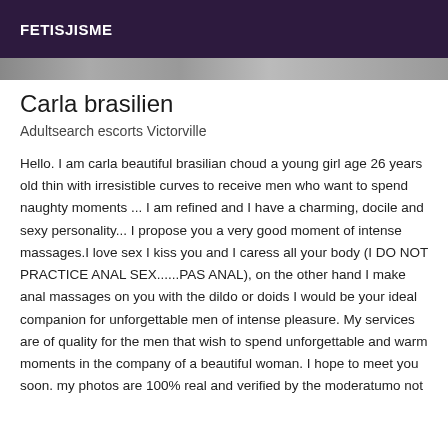FETISJISME
Carla brasilien
Adultsearch escorts Victorville
Hello. I am carla beautiful brasilian choud a young girl age 26 years old thin with irresistible curves to receive men who want to spend naughty moments ... I am refined and I have a charming, docile and sexy personality... I propose you a very good moment of intense massages.I love sex I kiss you and I caress all your body (I DO NOT PRACTICE ANAL SEX......PAS ANAL), on the other hand I make anal massages on you with the dildo or doids I would be your ideal companion for unforgettable men of intense pleasure. My services are of quality for the men that wish to spend unforgettable and warm moments in the company of a beautiful woman. I hope to meet you soon. my photos are 100% real and verified by the moderatumo not